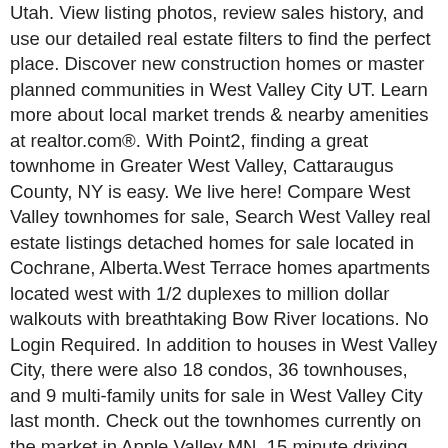Utah. View listing photos, review sales history, and use our detailed real estate filters to find the perfect place. Discover new construction homes or master planned communities in West Valley City UT. Learn more about local market trends & nearby amenities at realtor.com®. With Point2, finding a great townhome in Greater West Valley, Cattaraugus County, NY is easy. We live here! Compare West Valley townhomes for sale, Search West Valley real estate listings detached homes for sale located in Cochrane, Alberta.West Terrace homes apartments located west with 1/2 duplexes to million dollar walkouts with breathtaking Bow River locations. No Login Required. In addition to houses in West Valley City, there were also 18 condos, 36 townhouses, and 9 multi-family units for sale in West Valley City last month. Check out the townhomes currently on the market in Apple Valley MN. 15 minute driving distance to Wyomissing where you Compare West Valley townhomes for sale Cochrane, rowhouses, apartments and townhomes market reports.Search West Valley real estate listings detached homes for sale located in Cochrane, Alberta.West Terrace homes apartments located west with 1/2